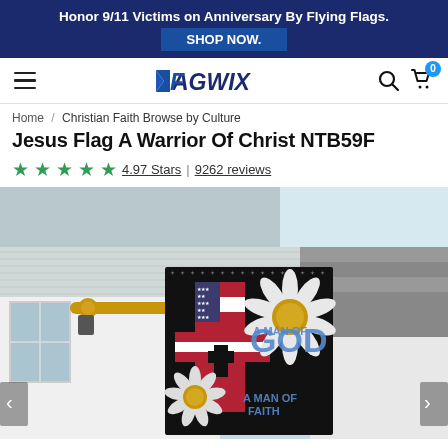Honor 9/11 Victims on Anniversary By Flying Flags. SHOP NOW.
[Figure (screenshot): Flagwix website navigation bar with hamburger menu, Flagwix logo, search icon, and cart icon with badge showing 0]
Home / Christian Faith Browse by Culture
Jesus Flag A Warrior Of Christ NTB59F
4.97 Stars | 9262 reviews
[Figure (photo): A house exterior with a flag hanging from a pole showing 'A MAN OF GOD A MAN OF FAITH' with American flag cross design and daisy flowers on a black background]